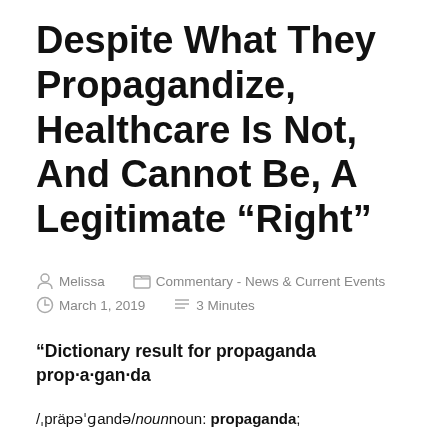Despite What They Propagandize, Healthcare Is Not, And Cannot Be, A Legitimate “Right”
Melissa   Commentary - News & Current Events
March 1, 2019   3 Minutes
“Dictionary result for propaganda prop·a·gan·da
/ˌpräpəˈɡandə/ noun noun: propaganda;